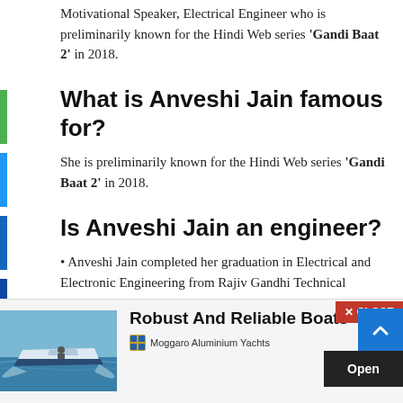Motivational Speaker, Electrical Engineer who is preliminarily known for the Hindi Web series 'Gandi Baat 2' in 2018.
What is Anveshi Jain famous for?
She is preliminarily known for the Hindi Web series 'Gandi Baat 2' in 2018.
Is Anveshi Jain an engineer?
Anveshi Jain completed her graduation in Electrical and Electronic Engineering from Rajiv Gandhi Technical University, Madhya Pradesh, India.
She started her career as an electrical engineer in Madhya Pradesh. After that, she quit her job and turned her career into a businesswoman in Indore.
[Figure (photo): Advertisement banner showing a speedboat on water with text 'Robust And Reliable Boats' and Moggaro Aluminium Yachts branding]